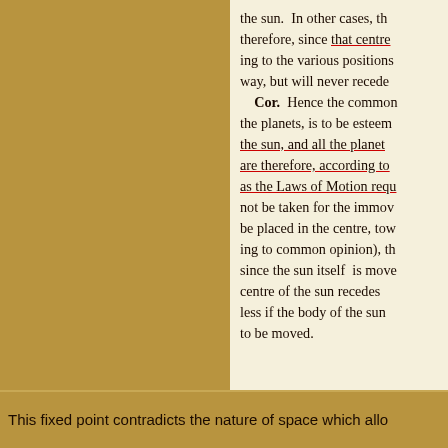the sun. In other cases, th therefore, since that centre ing to the various positions way, but will never recede Cor. Hence the common the planets, is to be esteem the sun, and all the planet are therefore, according to as the Laws of Motion requ not be taken for the immov be placed in the centre, tow ing to common opinion), th since the sun itself is move centre of the sun recedes less if the body of the sun to be moved.
This fixed point contradicts the nature of space which allo